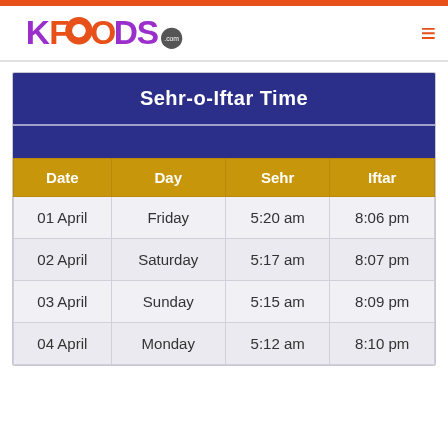[Figure (logo): KFOODS.com logo with stylized orange and purple letters]
| Date | Day | Sehr | Iftar |
| --- | --- | --- | --- |
| 01 April | Friday | 5:20 am | 8:06 pm |
| 02 April | Saturday | 5:17 am | 8:07 pm |
| 03 April | Sunday | 5:15 am | 8:09 pm |
| 04 April | Monday | 5:12 am | 8:10 pm |